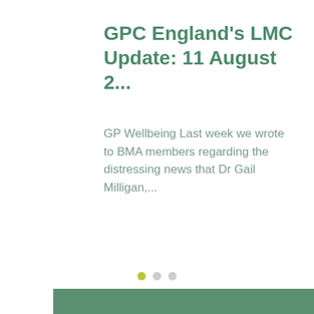GPC England's LMC Update: 11 August 2...
GP Wellbeing Last week we wrote to BMA members regarding the distressing news that Dr Gail Milligan,...
LMC BUYING GROUP
GDPR
JOB VACANCIES